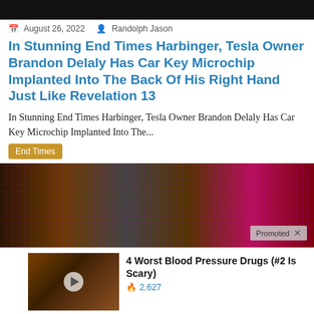[Figure (photo): Dark banner image at top of page]
August 26, 2022   Randolph Jason
In Stunning End Times Harbinger, Tesla Owner Brandon Delaly Has Car Key Microchip Implanted Into The Back Of His Right Hand Just Like Revelation 13
In Stunning End Times Harbinger, Tesla Owner Brandon Delaly Has Car Key Microchip Implanted Into The...
End Times
[Figure (photo): Promotional banner with circuit board and colorful abstract imagery, with Promoted X label]
4 Worst Blood Pressure Drugs (#2 Is Scary)
🔥 2,627
Why You Need This Strange Device When The Grid Goes Down
🔥 5,358